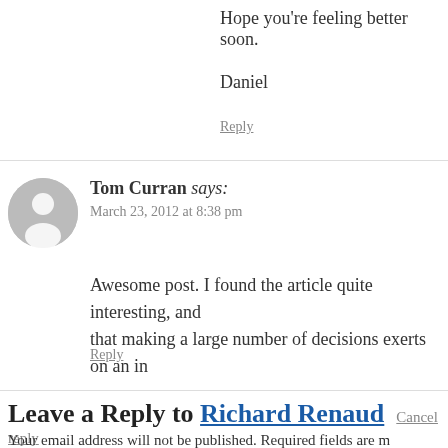Hope you're feeling better soon.
Daniel
Reply
Tom Curran says:
March 23, 2012 at 8:38 pm
Awesome post. I found the article quite interesting, and that making a large number of decisions exerts on an in
Reply
Leave a Reply to Richard Renaud Cancel reply
Your email address will not be published. Required fields are m